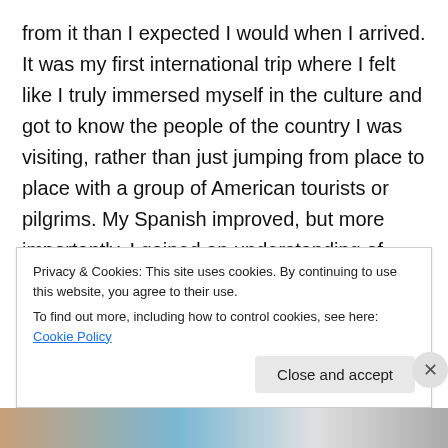from it than I expected I would when I arrived. It was my first international trip where I felt like I truly immersed myself in the culture and got to know the people of the country I was visiting, rather than just jumping from place to place with a group of American tourists or pilgrims. My Spanish improved, but more importantly, I gained an understanding of what life is like for Chileans by building relationships with them and asking questions about their lives, values, and experiences. I look forward to the day when I'm able to return to Santiago, whether that is 1, 5, or 20 years from now.
Privacy & Cookies: This site uses cookies. By continuing to use this website, you agree to their use.
To find out more, including how to control cookies, see here: Cookie Policy